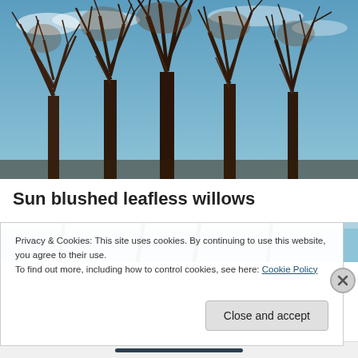[Figure (photo): Photograph of bare/leafless willow trees with brown branches against a blue sky, taken from below looking up.]
Sun blushed leafless willows
Privacy & Cookies: This site uses cookies. By continuing to use this website, you agree to their use.
To find out more, including how to control cookies, see here: Cookie Policy
Close and accept